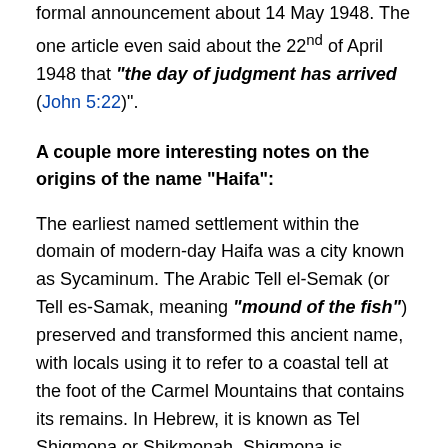formal announcement about 14 May 1948. The one article even said about the 22nd of April 1948 that "the day of judgment has arrived" (John 5:22)".
A couple more interesting notes on the origins of the name “Haifa":
The earliest named settlement within the domain of modern-day Haifa was a city known as Sycaminum. The Arabic Tell el-Semak (or Tell es-Samak, meaning “mound of the fish”) preserved and transformed this ancient name, with locals using it to refer to a coastal tell at the foot of the Carmel Mountains that contains its remains. In Hebrew, it is known as Tel Shiqmona or Shikmonah. Shiqmona is mentioned once in the Mishnah (composed c. 200 CE) for the wild fruits that grow around it.
Source: Haifa Etymology on Wikipedia